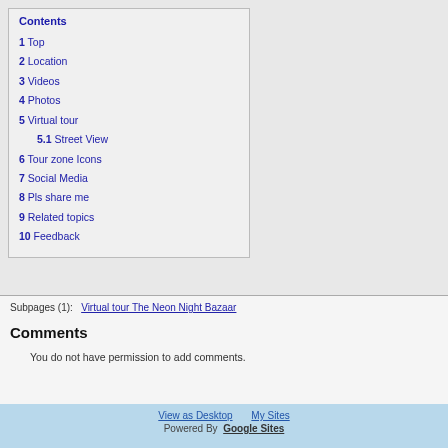Contents
1 Top
2 Location
3 Videos
4 Photos
5 Virtual tour
5.1 Street View
6 Tour zone Icons
7 Social Media
8 Pls share me
9 Related topics
10 Feedback
Subpages (1):   Virtual tour The Neon Night Bazaar
Comments
You do not have permission to add comments.
View as Desktop   My Sites   Powered By  Google Sites